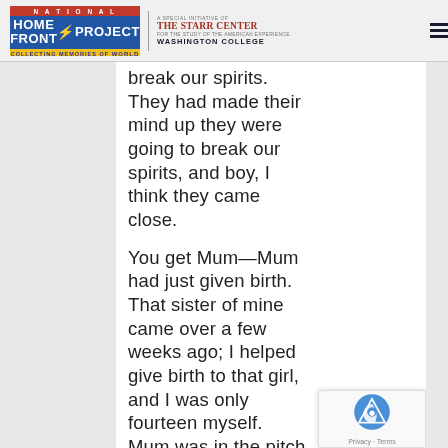National Home Front Project — Collecting Memories of World War II | The Starr Center for the Study of the American Experience, Washington College
break our spirits. They had made their mind up they were going to break our spirits, and boy, I think they came close.

You get Mum—Mum had just given birth. That sister of mine came over a few weeks ago; I helped give birth to that girl, and I was only fourteen myself. Mum was in the pitch black and went into labor, and we couldn't get her out. We couldn't get out